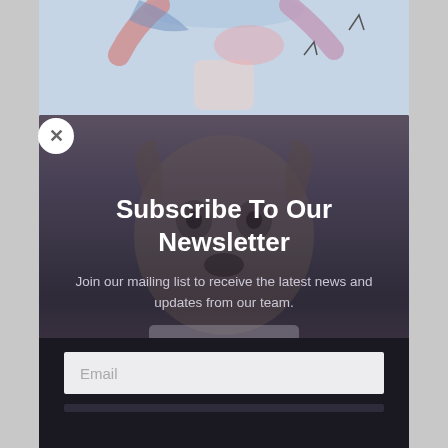[Figure (illustration): Colorful painted artwork showing figure with raised arms at top, and a dog portrait below wearing a shirt with 'DOOR' text, shown behind a semi-transparent dark overlay]
Subscribe To Our Newsletter
Join our mailing list to receive the latest news and updates from our team.
[Figure (screenshot): Email input field with placeholder text 'Email' on a dark background, part of a newsletter subscription form]